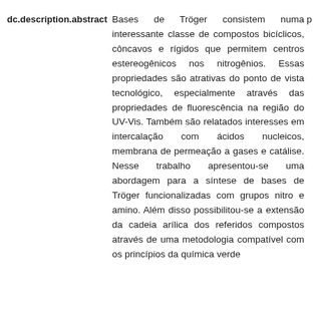dc.description.abstract   Bases de Tröger consistem numa p interessante classe de compostos bicíclicos, côncavos e rígidos que permitem centros estereogênicos nos nitrogênios. Essas propriedades são atrativas do ponto de vista tecnológico, especialmente através das propriedades de fluorescência na região do UV-Vis. Também são relatados interesses em intercalação com ácidos nucleicos, membrana de permeação a gases e catálise. Nesse trabalho apresentou-se uma abordagem para a síntese de bases de Tröger funcionalizadas com grupos nitro e amino. Além disso possibilitou-se a extensão da cadeia arílica dos referidos compostos através de uma metodologia compatível com os princípios da química verde